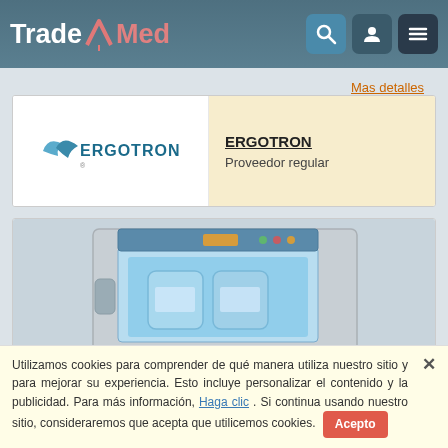TradeMed
[Figure (logo): Ergotron brand logo with bird/swoosh graphic]
ERGOTRON
Proveedor regular
Mas detalles
[Figure (photo): Medical fluid warmer cabinet with blue interior lighting showing water bottles inside]
Mobile Fluid Warmer
Utilizamos cookies para comprender de qué manera utiliza nuestro sitio y para mejorar su experiencia. Esto incluye personalizar el contenido y la publicidad. Para más información, Haga clic . Si continua usando nuestro sitio, consideraremos que acepta que utilicemos cookies.